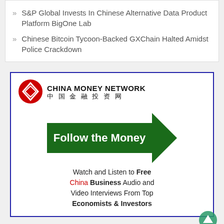S&P Global Invests In Chinese Alternative Data Product Platform BigOne Lab
Chinese Bitcoin Tycoon-Backed GXChain Halted Amidst Police Crackdown
[Figure (illustration): China Money Network advertisement banner with logo, green arrow 'Follow the Money', and text about free China Business Audio and Video Interviews From Top Economists & Investors]